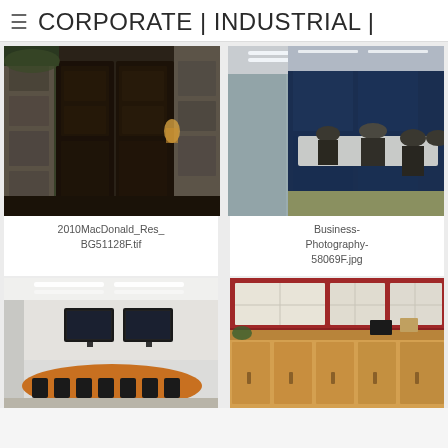CORPORATE | INDUSTRIAL |
[Figure (photo): Dark wood double door entrance with stone wall exterior, indoor lighting visible]
2010MacDonald_Res_BG51128F.tif
[Figure (photo): Modern office conference room with glass walls, people seated around a long table, blue exterior windows]
Business-Photography-58069F.jpg
[Figure (photo): Conference room with oval wooden table, black chairs, two wall-mounted screens]
[Figure (photo): Medical or office reception desk area with light wood cabinetry and white upper cabinets, warm lighting]